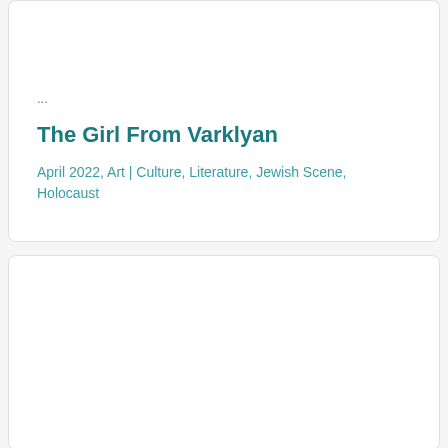...
The Girl From Varklyan
April 2022, Art | Culture, Literature, Jewish Scene, Holocaust